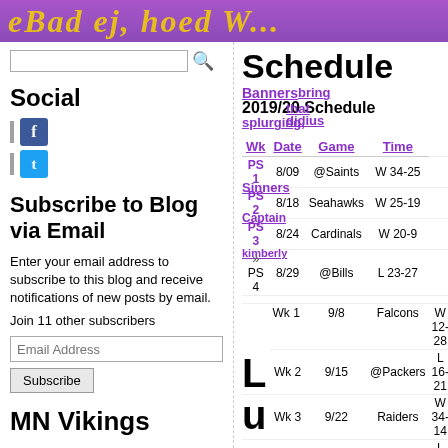eBad ej, hoed W...
Social
Subscribe to Blog via Email
Enter your email address to subscribe to this blog and receive notifications of new posts by email. Join 11 other subscribers
MN Vikings
Schedule
2019/20 Schedule
| Wk | Date | Game | Time |
| --- | --- | --- | --- |
| PS 1 | 8/09 | @Saints | W 34-25 |
| PS 2 | 8/18 | Seahawks | W 25-19 |
| PS 3 | 8/24 | Cardinals | W 20-9 |
| PS 4 | 8/29 | @Bills | L 23-27 |
| Wk 1 | 9/8 | Falcons | W 12-28 |
| Wk 2 | 9/15 | @Packers | L 16-21 |
| Wk 3 | 9/22 | Raiders | W 34-14 |
| Wk 4 | 9/29 | @Bears | L 6-16 |
| Wk 5 | 10/6 | @Giants | W 28-10 |
| Wk 6 | 10/13 | Eagles | W 20- |